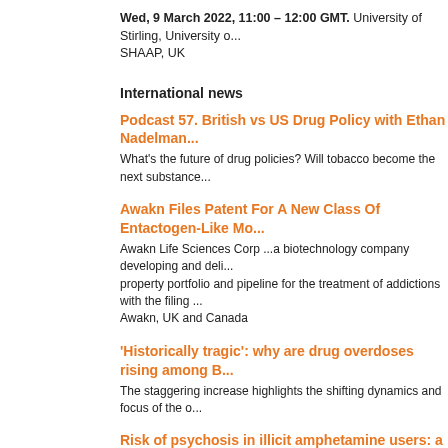Wed, 9 March 2022, 11:00 – 12:00 GMT. University of Stirling, University ... SHAAP, UK
International news
Podcast 57. British vs US Drug Policy with Ethan Nadelman...
What's the future of drug policies? Will tobacco become the next substance...
Awakn Files Patent For A New Class Of Entactogen-Like Mo...
Awakn Life Sciences Corp ...a biotechnology company developing and deli... property portfolio and pipeline for the treatment of addictions with the filing ... Awakn, UK and Canada
'Historically tragic': why are drug overdoses rising among B...
The staggering increase highlights the shifting dynamics and focus of the o...
Risk of psychosis in illicit amphetamine users: a 10 year ret...
Illicit amphetamine use was associated with an increased incidence of psyc... those arrested multiple times, and was inversely correlated with rehabilitatio...
Lack of rehab centres fuels Zimbabwe's drug abuse crisis
[Limited number of free articles per week] Substance abuse has "skyrocket...
Recommended Scope for NPS Testing in the United States (...
The objective of this report is to provide updated guidance in developing a... the United States based on current trends and intelligence | CFSRE and N...
"Largest-Ever" Harm Reduction Ad Campaign Demands Ser...